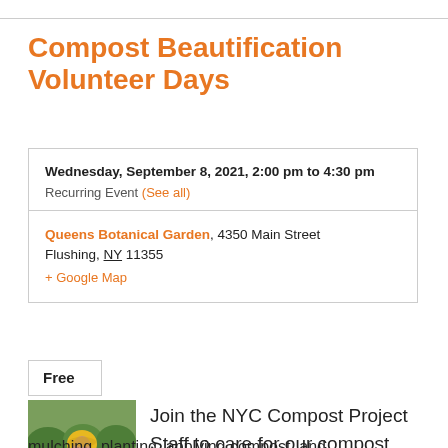Compost Beautification Volunteer Days
Wednesday, September 8, 2021, 2:00 pm to 4:30 pm
Recurring Event (See all)
Queens Botanical Garden, 4350 Main Street Flushing, NY 11355
+ Google Map
Free
[Figure (photo): Person wearing a yellow rain jacket and hood standing outdoors near garden/compost area with green plants in background]
Join the NYC Compost Project Staff to care for our compost demo site by weeding,
mulching, planting, applying compost, and